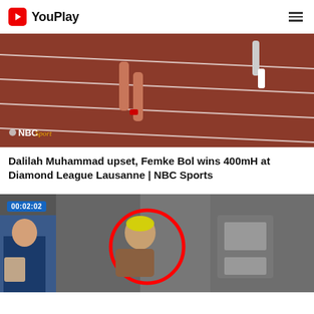YouPlay
[Figure (screenshot): NBC Sports track and field video thumbnail showing a runner on a red athletic track with white lane lines. NBC Sports logo visible in lower left.]
Dalilah Muhammad upset, Femke Bol wins 400mH at Diamond League Lausanne | NBC Sports
[Figure (screenshot): Video thumbnail of people in a crowd, with a red circle drawn around a highlighted area. Timestamp 00:02:02 shown in blue badge at top left.]